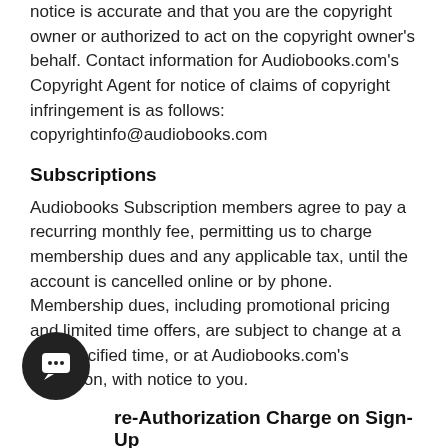notice is accurate and that you are the copyright owner or authorized to act on the copyright owner's behalf. Contact information for Audiobooks.com's Copyright Agent for notice of claims of copyright infringement is as follows: copyrightinfo@audiobooks.com
Subscriptions
Audiobooks Subscription members agree to pay a recurring monthly fee, permitting us to charge membership dues and any applicable tax, until the account is cancelled online or by phone. Membership dues, including promotional pricing and limited time offers, are subject to change at a pre-specified time, or at Audiobooks.com's discretion, with notice to you.
Pre-Authorization Charge on Sign-Up
New customers may see a pre-authorization charge of $1.15 that appears on their PayPal or...